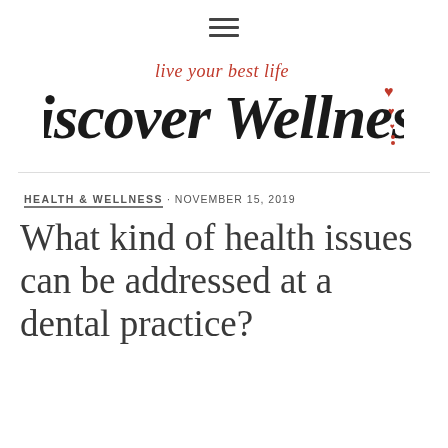≡
[Figure (logo): Discover Wellness logo with cursive script text 'live your best life' in red above bold italic black text 'Discover Wellness' with red heart decorations]
HEALTH & WELLNESS · NOVEMBER 15, 2019
What kind of health issues can be addressed at a dental practice?